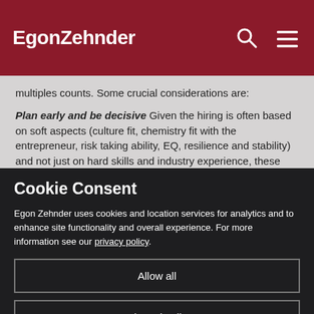EgonZehnder
multiples counts. Some crucial considerations are:
Plan early and be decisive Given the hiring is often based on soft aspects (culture fit, chemistry fit with the entrepreneur, risk taking ability, EQ, resilience and stability) and not just on hard skills and industry experience, these deals can often longer to close. In addition, it can take time for an executive to fully start adding value. Of course there are multiple factors in the journey of hiring a C-suite executive...
Cookie Consent
Egon Zehnder uses cookies and location services for analytics and to enhance site functionality and overall experience. For more information see our privacy policy.
Allow all
Show details